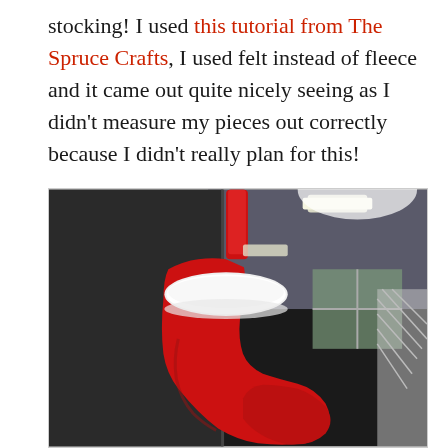stocking! I used this tutorial from The Spruce Crafts, I used felt instead of fleece and it came out quite nicely seeing as I didn't measure my pieces out correctly because I didn't really plan for this!
[Figure (photo): A red and white Christmas stocking hanging on a dark cabinet/door in an office or indoor environment. The stocking has a white fluffy cuff and a red hanging loop. Office interior visible in background with ceiling lights and windows.]